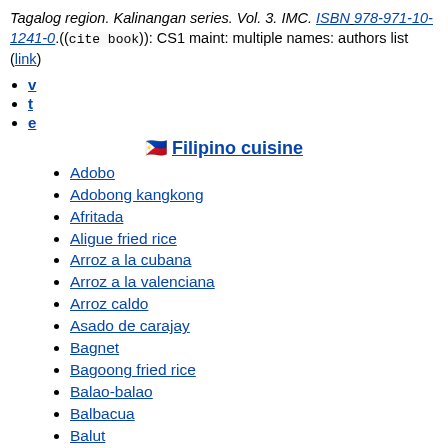Tagalog region. Kalinangan series. Vol. 3. IMC. ISBN 978-971-10-1241-0.((cite book)): CS1 maint: multiple names: authors list (link)
v
t
e
🇵🇭 Filipino cuisine
Adobo
Adobong kangkong
Afritada
Aligue fried rice
Arroz a la cubana
Arroz a la valenciana
Arroz caldo
Asado de carajay
Bagnet
Bagoong fried rice
Balao-balao
Balbacua
Balut
Bicol Express
Binagoongan
Binagoongang